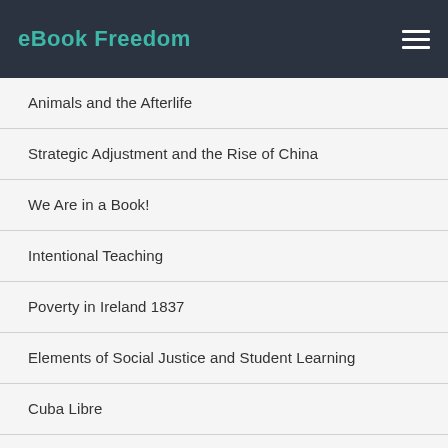eBook Freedom
Animals and the Afterlife
Strategic Adjustment and the Rise of China
We Are in a Book!
Intentional Teaching
Poverty in Ireland 1837
Elements of Social Justice and Student Learning
Cuba Libre
Tame Topology and O-minimal Structures
Return to Pangaea